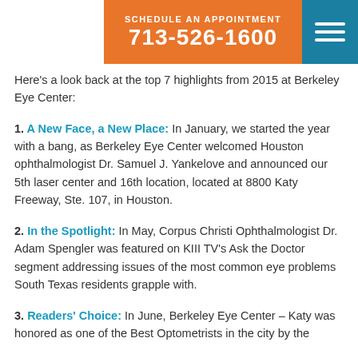SCHEDULE AN APPOINTMENT 713-526-1600
Here's a look back at the top 7 highlights from 2015 at Berkeley Eye Center:
1. A New Face, a New Place: In January, we started the year with a bang, as Berkeley Eye Center welcomed Houston ophthalmologist Dr. Samuel J. Yankelove and announced our 5th laser center and 16th location, located at 8800 Katy Freeway, Ste. 107, in Houston.
2. In the Spotlight: In May, Corpus Christi Ophthalmologist Dr. Adam Spengler was featured on KIII TV's Ask the Doctor segment addressing issues of the most common eye problems South Texas residents grapple with.
3. Readers' Choice: In June, Berkeley Eye Center – Katy was honored as one of the Best Optometrists in the city by the